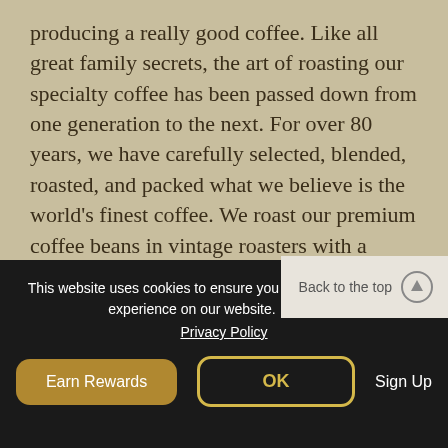producing a really good coffee. Like all great family secrets, the art of roasting our specialty coffee has been passed down from one generation to the next. For over 80 years, we have carefully selected, blended, roasted, and packed what we believe is the world's finest coffee. We roast our premium coffee beans in vintage roasters with a novel drum design. This allows for better airflow and reduces the risk of over-roasting, which can cause a burnt flavor. Different compounds are developed during this roasting process at different times. By controlling the chemical reactions taking place in the bean during the roast, we can choose or determine the flavors in the final cup.
This website uses cookies to ensure you get the best experience on our website.
Privacy Policy
Back to the top
Earn Rewards
OK
Sign Up